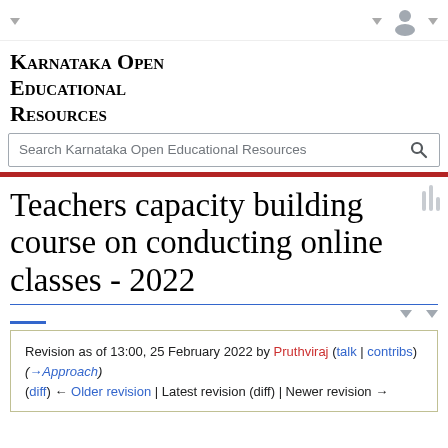Karnataka Open Educational Resources
Teachers capacity building course on conducting online classes - 2022
Revision as of 13:00, 25 February 2022 by Pruthviraj (talk | contribs) (→Approach)
(diff) ← Older revision | Latest revision (diff) | Newer revision →